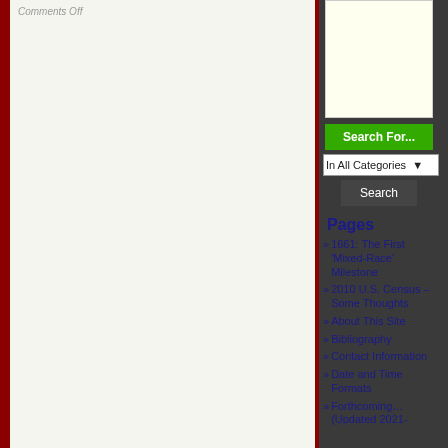Comments Off
[Figure (other): Yellow advertisement box in sidebar]
Search For...
In All Categories
Search
Pages
1661: The First 'Mixed-Race' Milestone
2010 U.S. Census – Some Thoughts
About This Site
Bibliography
Contact Information
Date and Time Formats
Forthcoming… (Updated 2021-